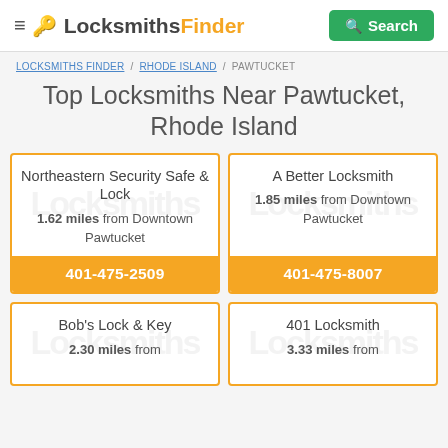LocksmithsFinder — Search
LOCKSMITHS FINDER / RHODE ISLAND / PAWTUCKET
Top Locksmiths Near Pawtucket, Rhode Island
Northeastern Security Safe & Lock
1.62 miles from Downtown Pawtucket
401-475-2509
A Better Locksmith
1.85 miles from Downtown Pawtucket
401-475-8007
Bob's Lock & Key
2.30 miles from
401 Locksmith
3.33 miles from